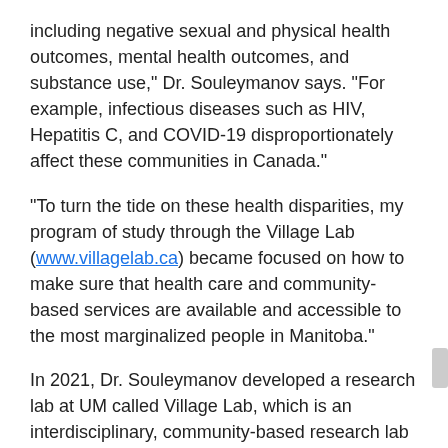including negative sexual and physical health outcomes, mental health outcomes, and substance use," Dr. Souleymanov says. "For example, infectious diseases such as HIV, Hepatitis C, and COVID-19 disproportionately affect these communities in Canada."
"To turn the tide on these health disparities, my program of study through the Village Lab (www.villagelab.ca) became focused on how to make sure that health care and community-based services are available and accessible to the most marginalized people in Manitoba."
In 2021, Dr. Souleymanov developed a research lab at UM called Village Lab, which is an interdisciplinary, community-based research lab at the Faculty of Social Work. The Village Lab aims to conduct rigorous and applied social science and community-based health research that can be used to prevent a variety of health and social disparities and promote wellbeing among vulnerable and marginalized populations in Canada. Research projects involve